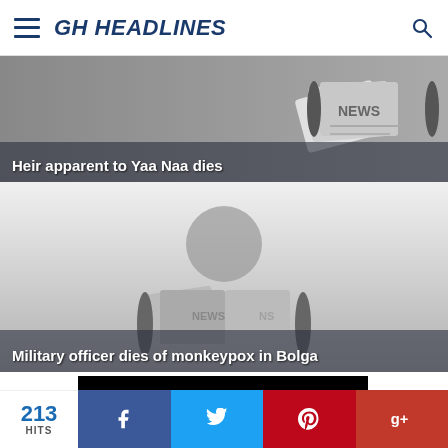GH HEADLINES
[Figure (photo): News banner image with newspaper graphic, headline: Heir apparent to Yaa Naa dies]
Heir apparent to Yaa Naa dies
[Figure (photo): News banner image with person reading newspaper graphic, headline: Military officer dies of monkeypox in Bolga]
Military officer dies of monkeypox in Bolga
[Figure (screenshot): Black video thumbnail with text 'How to']
213 HITS
[Figure (infographic): Social share bar with Facebook, Twitter, Pinterest, Google+ buttons]